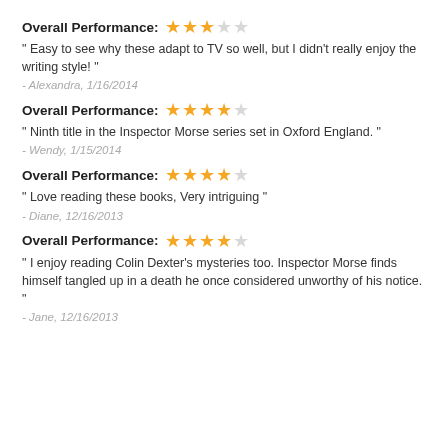Overall Performance: ★★★☆☆
" Easy to see why these adapt to TV so well, but I didn't really enjoy the writing style! "
- Alexandra, 1/16/2014
Overall Performance: ★★★★☆
" Ninth title in the Inspector Morse series set in Oxford England. "
- Wendy, 1/15/2014
Overall Performance: ★★★★☆
" Love reading these books, Very intriguing "
- Diane, 12/16/2013
Overall Performance: ★★★★☆
" I enjoy reading Colin Dexter's mysteries too. Inspector Morse finds himself tangled up in a death he once considered unworthy of his notice. "
- Jane, 12/16/2013